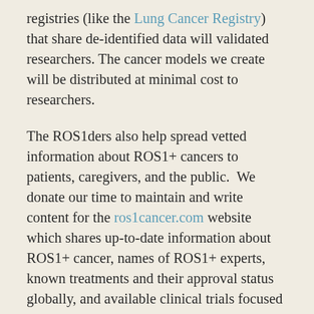registries (like the Lung Cancer Registry) that share de-identified data will validated researchers. The cancer models we create will be distributed at minimal cost to researchers.
The ROS1ders also help spread vetted information about ROS1+ cancers to patients, caregivers, and the public. We donate our time to maintain and write content for the ros1cancer.com website which shares up-to-date information about ROS1+ cancer, names of ROS1+ experts, known treatments and their approval status globally, and available clinical trials focused on ROS1+ cancers. We also administer a private Facebook group in which ROS1+ patients and caregivers share their experiences, news about our cancer, and tips for living with our disease (more info on joining this group is here).